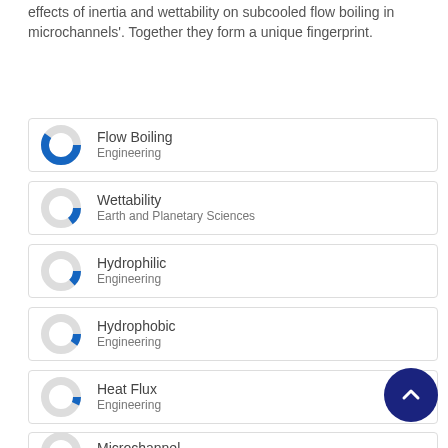effects of inertia and wettability on subcooled flow boiling in microchannels'. Together they form a unique fingerprint.
Flow Boiling — Engineering
Wettability — Earth and Planetary Sciences
Hydrophilic — Engineering
Hydrophobic — Engineering
Heat Flux — Engineering
Microchannel